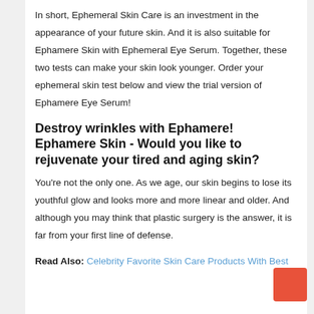In short, Ephemeral Skin Care is an investment in the appearance of your future skin. And it is also suitable for Ephamere Skin with Ephemeral Eye Serum. Together, these two tests can make your skin look younger. Order your ephemeral skin test below and view the trial version of Ephamere Eye Serum!
Destroy wrinkles with Ephamere! Ephamere Skin - Would you like to rejuvenate your tired and aging skin?
You're not the only one. As we age, our skin begins to lose its youthful glow and looks more and more linear and older. And although you may think that plastic surgery is the answer, it is far from your first line of defense.
Read Also: Celebrity Favorite Skin Care Products With Best...